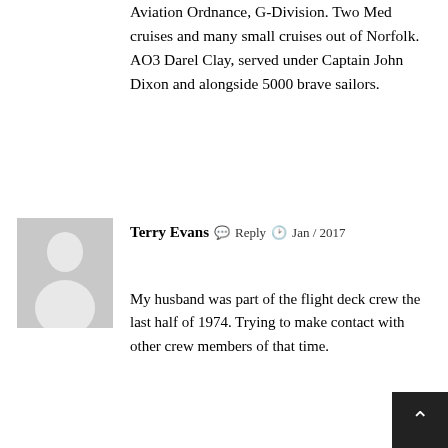Aviation Ordnance, G-Division. Two Med cruises and many small cruises out of Norfolk.
AO3 Darel Clay, served under Captain John Dixon and alongside 5000 brave sailors.
Terry Evans   Reply   Jan / 2017
My husband was part of the flight deck crew the last half of 1974. Trying to make contact with other crew members of that time.
Leslie Sanchez   Reply